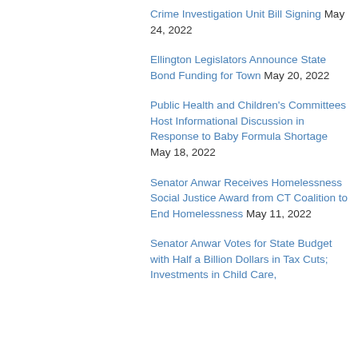Crime Investigation Unit Bill Signing May 24, 2022
Ellington Legislators Announce State Bond Funding for Town May 20, 2022
Public Health and Children's Committees Host Informational Discussion in Response to Baby Formula Shortage May 18, 2022
Senator Anwar Receives Homelessness Social Justice Award from CT Coalition to End Homelessness May 11, 2022
Senator Anwar Votes for State Budget with Half a Billion Dollars in Tax Cuts; Investments in Child Care,